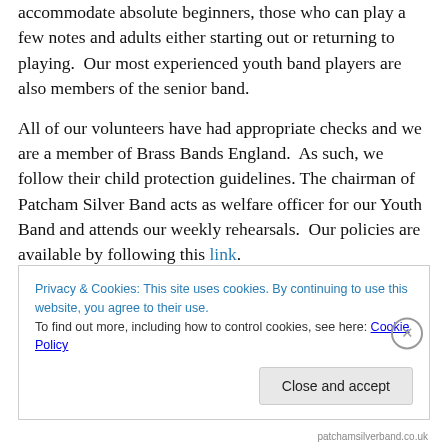accommodate absolute beginners, those who can play a few notes and adults either starting out or returning to playing.  Our most experienced youth band players are also members of the senior band.
All of our volunteers have had appropriate checks and we are a member of Brass Bands England.  As such, we follow their child protection guidelines. The chairman of Patcham Silver Band acts as welfare officer for our Youth Band and attends our weekly rehearsals.  Our policies are available by following this link.
Privacy & Cookies: This site uses cookies. By continuing to use this website, you agree to their use.
To find out more, including how to control cookies, see here: Cookie Policy